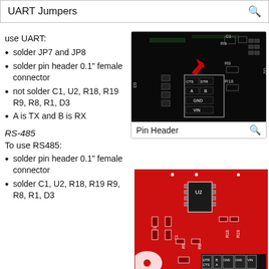UART Jumpers
use UART:
solder JP7 and JP8
solder pin header 0.1" female connector
not solder C1, U2, R18, R19 R9, R8, R1, D3
A is TX and B is RX
[Figure (photo): Close-up of PCB showing pin header area with components labeled DTR, CTS, GND, VIN, R9, R8, R18, U2, C1, D3 with a red arrow pointing to a component]
Pin Header
RS-485
To use RS485:
solder pin header 0.1" female connector
solder C1, U2, R18, R19 R9, R8, R1, D3
[Figure (photo): Red PCB board showing RS485 components: U2, C1, C13, R9, R8, R18, R19, R1, DTR, CTS, B, A, GND, VIN connectors]